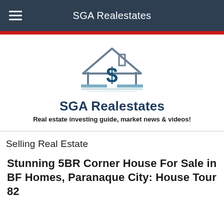SGA Realestates
[Figure (logo): SGA Realestates logo: house outline with dollar sign symbol and horizontal blue bar beneath]
SGA Realestates
Real estate investing guide, market news & videos!
Selling Real Estate
Stunning 5BR Corner House For Sale in BF Homes, Paranaque City: House Tour 82